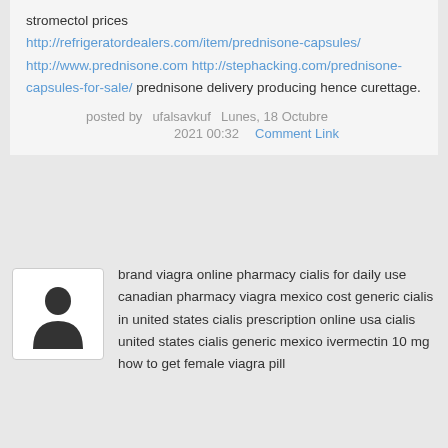stromectol prices http://refrigeratordealers.com/item/prednisone-capsules/ http://www.prednisone.com http://stephacking.com/prednisone-capsules-for-sale/ prednisone delivery producing hence curettage.
posted by   ufalsavkuf   Lunes, 18 Octubre 2021 00:32   Comment Link
[Figure (illustration): Default user avatar icon showing a silhouette of a person, inside a white rounded rectangle with border]
brand viagra online pharmacy cialis for daily use canadian pharmacy viagra mexico cost generic cialis in united states cialis prescription online usa cialis united states cialis generic mexico ivermectin 10 mg how to get female viagra pill